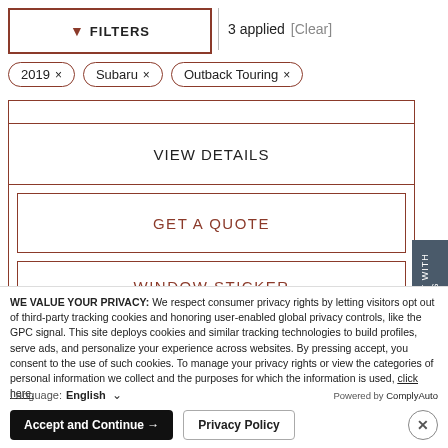FILTERS | 3 applied [Clear]
2019 ×   Subaru ×   Outback Touring ×
VIEW DETAILS
GET A QUOTE
WINDOW STICKER
CHAT WITH US
WE VALUE YOUR PRIVACY: We respect consumer privacy rights by letting visitors opt out of third-party tracking cookies and honoring user-enabled global privacy controls, like the GPC signal. This site deploys cookies and similar tracking technologies to build profiles, serve ads, and personalize your experience across websites. By pressing accept, you consent to the use of such cookies. To manage your privacy rights or view the categories of personal information we collect and the purposes for which the information is used, click here.
Language:  English  ∨   Powered by ComplyAuto
Accept and Continue →   Privacy Policy   ×